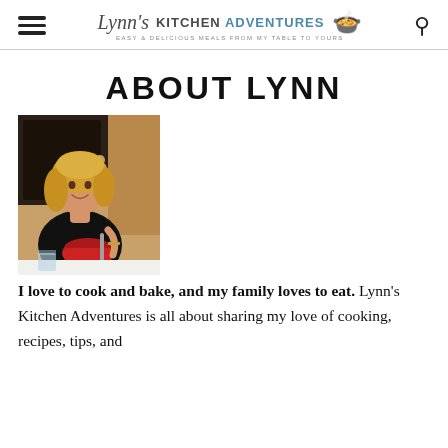Lynn's Kitchen Adventures — Easy & Delicious Meals From My Table To Yours
ABOUT LYNN
[Figure (photo): Photo of Lynn, a smiling blonde woman wearing a black t-shirt, holding a red mixing bowl with a whisk, standing in a kitchen]
I love to cook and bake, and my family loves to eat. Lynn's Kitchen Adventures is all about sharing my love of cooking, recipes, tips, and